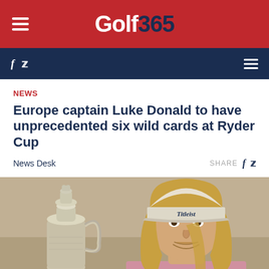Golf365
NEWS
Europe captain Luke Donald to have unprecedented six wild cards at Ryder Cup
News Desk
[Figure (photo): A golfer (Cameron Smith) holding the Claret Jug trophy, wearing a Titleist cap and pink/white patterned shirt, smiling at the camera.]